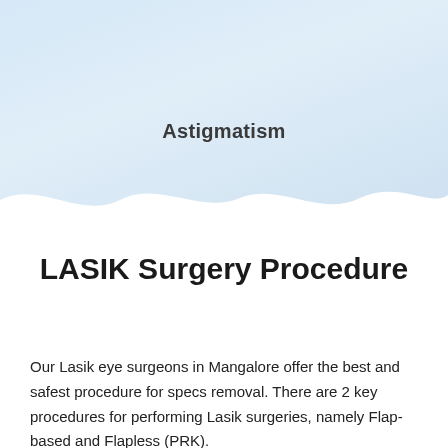[Figure (illustration): Light blue gradient hero background with wavy white transition at the bottom]
Astigmatism
LASIK Surgery Procedure
Our Lasik eye surgeons in Mangalore offer the best and safest procedure for specs removal. There are 2 key procedures for performing Lasik surgeries, namely Flap-based and Flapless (PRK).